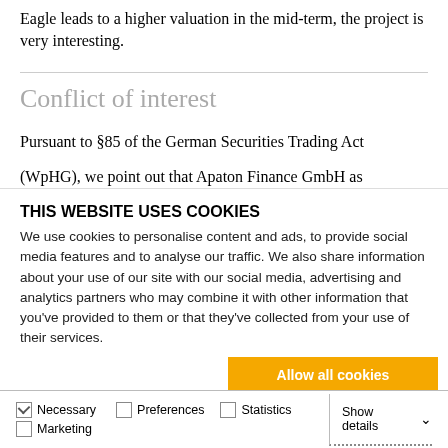Eagle leads to a higher valuation in the mid-term, the project is very interesting.
Conflict of interest
Pursuant to §85 of the German Securities Trading Act (WpHG), we point out that Apaton Finance GmbH as
THIS WEBSITE USES COOKIES
We use cookies to personalise content and ads, to provide social media features and to analyse our traffic. We also share information about your use of our site with our social media, advertising and analytics partners who may combine it with other information that you've provided to them or that they've collected from your use of their services.
Allow all cookies
Allow selection
Use necessary cookies only
Necessary  Preferences  Statistics  Show details  Marketing